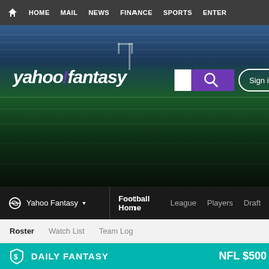HOME  MAIL  NEWS  FINANCE  SPORTS  ENTER
[Figure (screenshot): Yahoo Fantasy Sports hero banner with football stadium background, Yahoo! fantasy logo, search bar, and Sign in button]
Yahoo Fantasy ▾  Football Home  League  Players  Draft
Roster  Watch List  Team Log
DAILY FANTASY   NFL $500
Polska Pierogi ▾  --hidden--  Since '14   LEVEL  Rating: 5